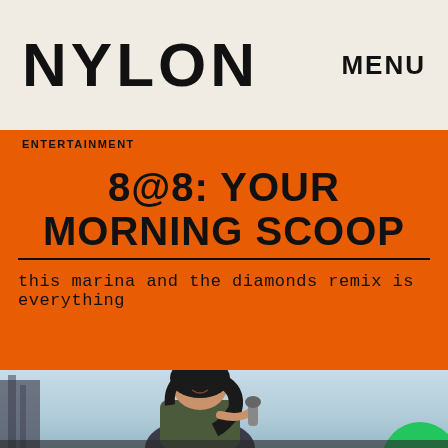NYLON   MENU
ENTERTAINMENT
8@8: YOUR MORNING SCOOP
this marina and the diamonds remix is everything
[Figure (photo): A woman with dark hair singing into a microphone on stage, wearing a dark dress, photographed outdoors with a light sky background. A green circular object is partially visible at the bottom right.]